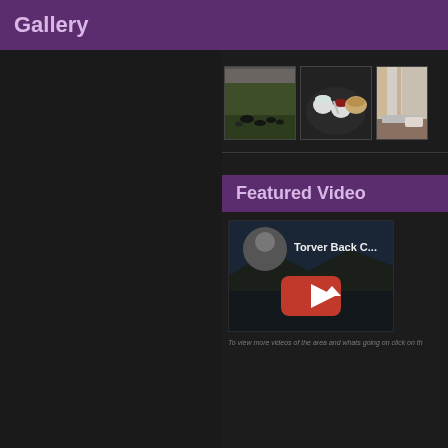Gallery
[Figure (photo): Three thumbnail photos: ducks on grass, cream tea on a plate, interior room view]
Featured Video
[Figure (screenshot): YouTube video thumbnail for 'Torver Back C...' with red play button]
To view more videos of the area and whats going on click on th